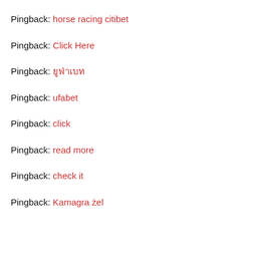Pingback: horse racing citibet
Pingback: Click Here
Pingback: ยูฟ่าเบท
Pingback: ufabet
Pingback: click
Pingback: read more
Pingback: check it
Pingback: Kamagra żel